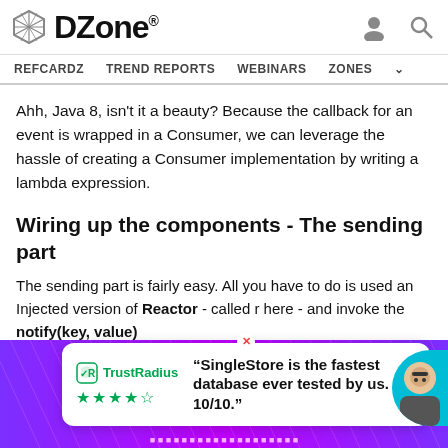DZone. — REFCARDZ  TREND REPORTS  WEBINARS  ZONES
Ahh, Java 8, isn't it a beauty? Because the callback for an event is wrapped in a Consumer, we can leverage the hassle of creating a Consumer implementation by writing a lambda expression.
Wiring up the components - The sending part
The sending part is fairly easy. All you have to do is used an Injected version of Reactor - called r here - and invoke the notify(key, value)
view source
lo:
pr
1
[Figure (other): Advertisement overlay showing TrustRadius logo with star rating and quote: 'SingleStore is the fastest database ever tested by us. 10/10.' on a purple background with a person avatar]